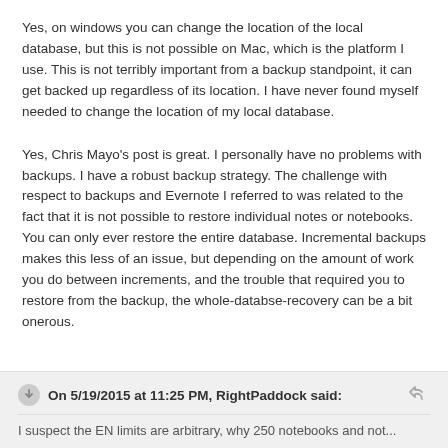Yes, on windows you can change the location of the local database, but this is not possible on Mac, which is the platform I use. This is not terribly important from a backup standpoint, it can get backed up regardless of its location. I have never found myself needed to change the location of my local database.
Yes, Chris Mayo's post is great. I personally have no problems with backups. I have a robust backup strategy. The challenge with respect to backups and Evernote I referred to was related to the fact that it is not possible to restore individual notes or notebooks. You can only ever restore the entire database. Incremental backups makes this less of an issue, but depending on the amount of work you do between increments, and the trouble that required you to restore from the backup, the whole-databse-recovery can be a bit onerous.
On 5/19/2015 at 11:25 PM, RightPaddock said:
I suspect the EN limits are arbitrary, why 250 notebooks and not...